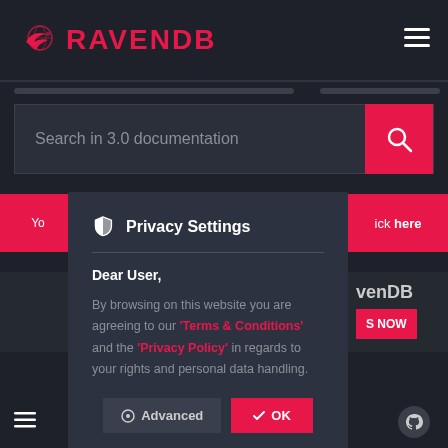[Figure (screenshot): RavenDB logo with raven/globe icon in pink/red on dark background]
Search in 3.0 documentation
[Figure (screenshot): Privacy Settings modal dialog with shield icon, Dear User message, Terms & Conditions and Privacy Policy links in red, Advanced and OK buttons]
Privacy Settings
Dear User,
By browsing on this website you are agreeing to our 'Terms & Conditions' and the 'Privacy Policy' in regards to your rights and personal data handling.
Advanced
OK